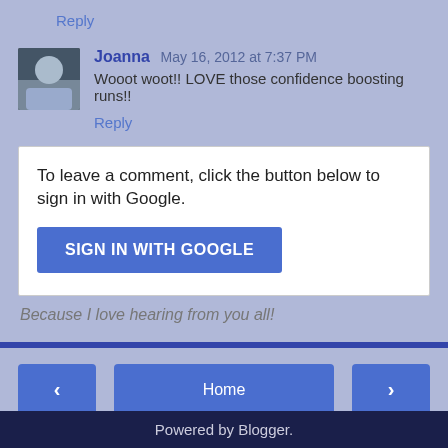Reply
Joanna  May 16, 2012 at 7:37 PM
Wooot woot!! LOVE those confidence boosting runs!!
Reply
To leave a comment, click the button below to sign in with Google.
SIGN IN WITH GOOGLE
Because I love hearing from you all!
‹
Home
›
View web version
Powered by Blogger.